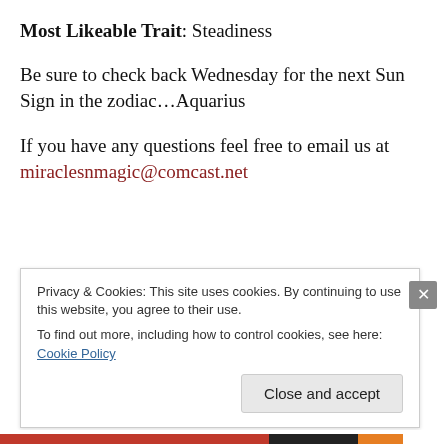Most Likeable Trait: Steadiness
Be sure to check back Wednesday for the next Sun Sign in the zodiac…Aquarius
If you have any questions feel free to email us at miraclesnmagic@comcast.net
Privacy & Cookies: This site uses cookies. By continuing to use this website, you agree to their use. To find out more, including how to control cookies, see here: Cookie Policy
Close and accept